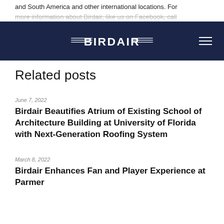and South America and other international locations. For more information about Birdair, like us on Facebook, call
[Figure (logo): Birdair logo in white on dark navy navigation bar with hamburger menu icon on the right]
Related posts
June 7, 2022
Birdair Beautifies Atrium of Existing School of Architecture Building at University of Florida with Next-Generation Roofing System
March 8, 2022
Birdair Enhances Fan and Player Experience at Parmer